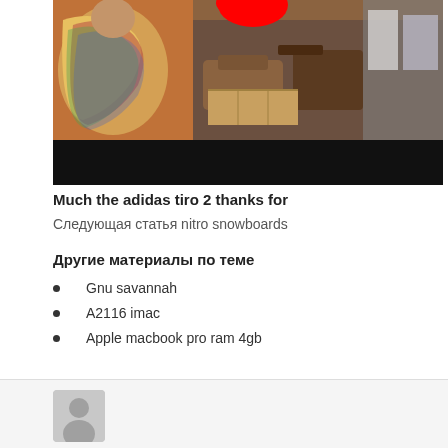[Figure (photo): A person in colorful patterned clothing at what appears to be a market or shop, with a red circular element visible at the top and a black bar at the bottom of the image.]
Much the adidas tiro 2 thanks for
Следующая статья nitro snowboards
Другие материалы по теме
Gnu savannah
A2116 imac
Apple macbook pro ram 4gb
[Figure (photo): Avatar/profile placeholder image showing a gray silhouette of a person on a light gray background.]